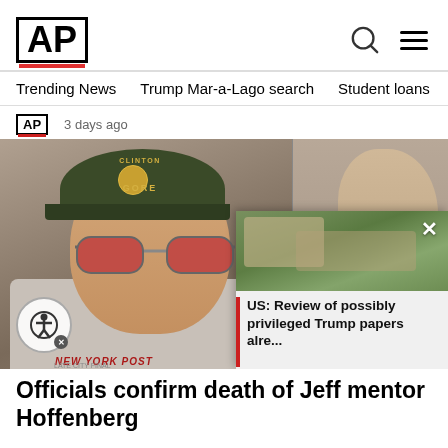AP
Trending News  Trump Mar-a-Lago search  Student loans  U.S.
AP  3 days ago
[Figure (photo): Man wearing a Clinton Gore cap and red-tinted sunglasses with a New York Post shirt, with another person visible to the right. A popup overlay shows an aerial view of what appears to be Mar-a-Lago with text: US: Review of possibly privileged Trump papers alre...]
Officials confirm death of Jeff mentor Hoffenberg